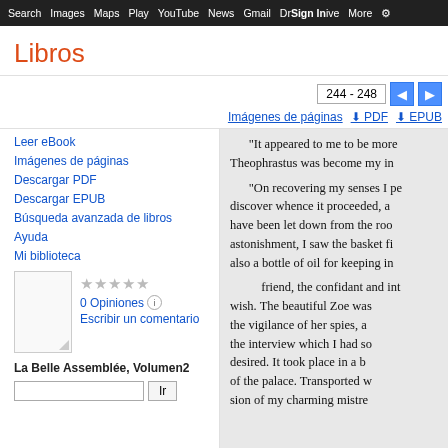Search  Images  Maps  Play  YouTube  News  Gmail  Drive  More  Sign In  ⚙
Libros
244 - 248
Imágenes de páginas   PDF   EPUB
Leer eBook
Imágenes de páginas
Descargar PDF
Descargar EPUB
Búsqueda avanzada de libros
Ayuda
Mi biblioteca
★★★★★
0 Opiniones  ℹ
Escribir un comentario
La Belle Assemblée, Volumen2
Ir
"It appeared to me to be more Theophrastus was become my in

"On recovering my senses I pe discover whence it proceeded, a have been let down from the roo astonishment, I saw the basket f also a bottle of oil for keeping in

friend, the confidant and int wish. The beautiful Zoe was the vigilance of her spies, a the interview which I had so desired. It took place in a b of the palace. Transported w sion of my charming mistre